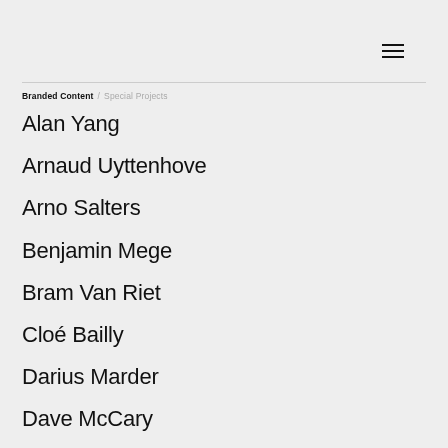≡
Branded Content / Special Projects
Alan Yang
Arnaud Uyttenhove
Arno Salters
Benjamin Mege
Bram Van Riet
Cloé Bailly
Darius Marder
Dave McCary
Elizabeth Orne